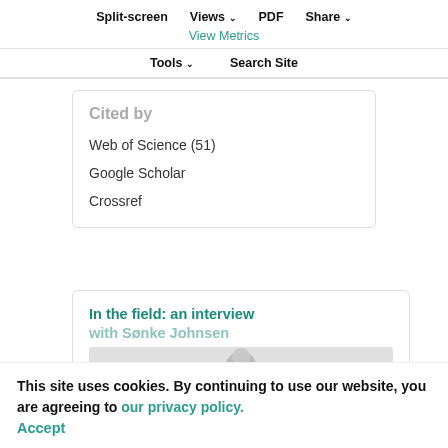Split-screen  Views  PDF  Share
View Metrics
Tools  Search Site
Cited by
Web of Science (51)
Google Scholar
Crossref
In the field: an interview with Sønke Johnsen
This site uses cookies. By continuing to use our website, you are agreeing to our privacy policy. Accept